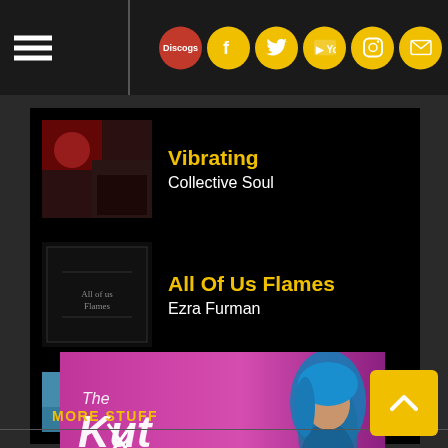Navigation header with hamburger menu and social icons: Discogs, Facebook, Twitter, YouTube, Instagram, Email
Vibrating – Collective Soul
All Of Us Flames – Ezra Furman
Nathan
[Figure (photo): The Kut promotional banner – pink/purple background with blue-haired person and handwritten 'The Kut' text]
MORE STUFF